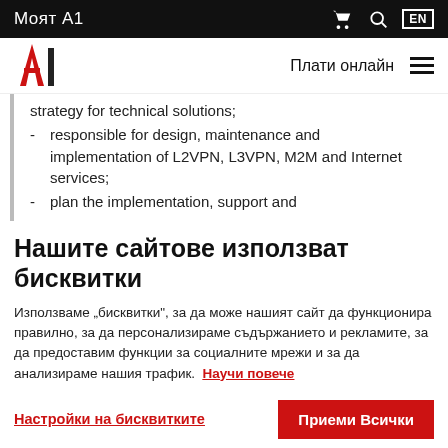Моят A1
[Figure (logo): A1 telecom logo, red letter A with white 1]
strategy for technical solutions;
responsible for design, maintenance and implementation of L2VPN, L3VPN, M2M and Internet services;
plan the implementation, support and
Нашите сайтове използват бисквитки
Използваме „бисквитки", за да може нашият сайт да функционира правилно, за да персонализираме съдържанието и рекламите, за да предоставим функции за социалните мрежи и за да анализираме нашия трафик.  Научи повече
Настройки на бисквитките | Приеми Всички